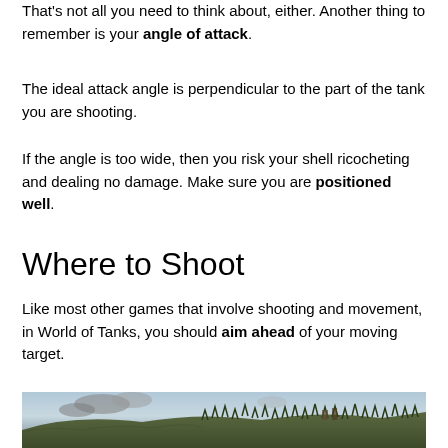That's not all you need to think about, either. Another thing to remember is your angle of attack.
The ideal attack angle is perpendicular to the part of the tank you are shooting.
If the angle is too wide, then you risk your shell ricocheting and dealing no damage. Make sure you are positioned well.
Where to Shoot
Like most other games that involve shooting and movement, in World of Tanks, you should aim ahead of your moving target.
[Figure (photo): A battlefield scene with smoke, hills with trees, and military activity in World of Tanks game or similar setting.]